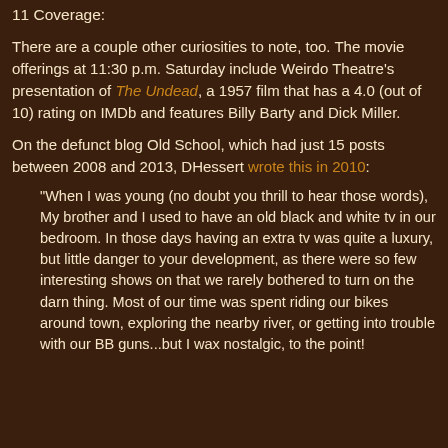11 Coverage:
There are a couple other curiosities to note, too. The movie offerings at 11:30 p.m. Saturday include Weirdo Theatre's presentation of The Undead, a 1957 film that has a 4.0 (out of 10) rating on IMDb and features Billy Barty and Dick Miller.
On the defunct blog Old School, which had just 15 posts between 2008 and 2013, DHessert wrote this in 2010:
"When I was young (no doubt you thrill to hear those words), My brother and I used to have an old black and white tv in our bedroom. In those days having an extra tv was quite a luxury, but little danger to your development, as there were so few interesting shows on that we rarely bothered to turn on the darn thing. Most of our time was spent riding our bikes around town, exploring the nearby river, or getting into trouble with our BB guns...but I wax nostalgic, to the point!